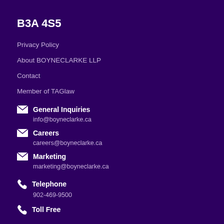B3A 4S5
Privacy Policy
About BOYNECLARKE LLP
Contact
Member of TAGlaw
General Inquiries
info@boyneclarke.ca
Careers
careers@boyneclarke.ca
Marketing
marketing@boyneclarke.ca
Telephone
902-469-9500
Toll Free